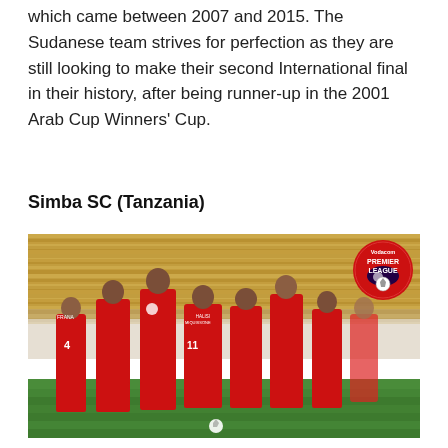which came between 2007 and 2015. The Sudanese team strives for perfection as they are still looking to make their second International final in their history, after being runner-up in the 2001 Arab Cup Winners' Cup.
Simba SC (Tanzania)
[Figure (photo): A group of Simba SC football players in red jerseys celebrating on a pitch. Player number 11 MIQUISSONE HALISI is visible. A Vodacom Premier League badge appears in the top right corner of the image.]